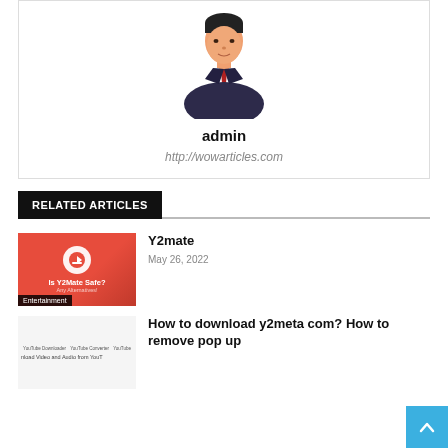[Figure (illustration): Avatar icon of a man in a dark suit with a red tie, generic admin profile image]
admin
http://wowarticles.com
RELATED ARTICLES
[Figure (illustration): Red thumbnail image with Y2Mate logo, download icon circle, text 'Is Y2Mate Safe?' and subtitle, with Entertainment badge]
Y2mate
May 26, 2022
[Figure (screenshot): Thumbnail showing y2meta.com page with text about YouTube download and audio]
How to download y2meta com? How to remove pop up